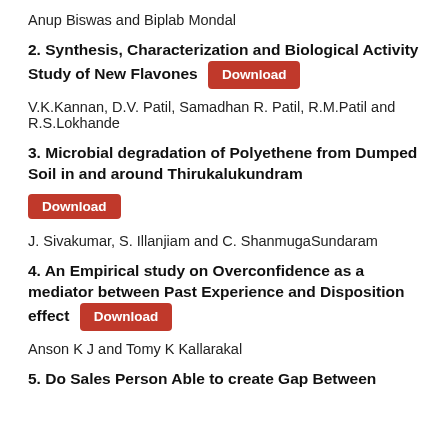Anup Biswas and Biplab Mondal
2. Synthesis, Characterization and Biological Activity Study of New Flavones
V.K.Kannan, D.V. Patil, Samadhan R. Patil, R.M.Patil and R.S.Lokhande
3. Microbial degradation of Polyethene from Dumped Soil in and around Thirukalukundram
J. Sivakumar, S. Illanjiam and C. ShanmugaSundaram
4. An Empirical study on Overconfidence as a mediator between Past Experience and Disposition effect
Anson K J and Tomy K Kallarakal
5. Do Sales Person Able to create Gap Between